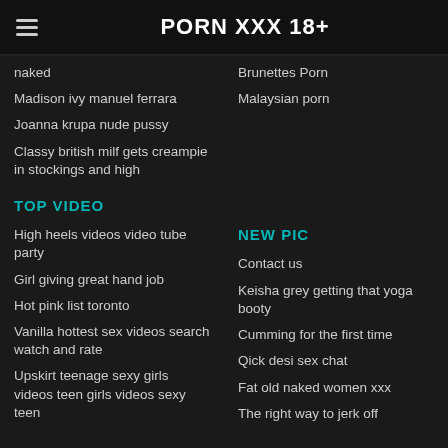PORN XXX 18+
naked
Brunettes Porn
Madison ivy manuel ferrara
Malaysian porn
Joanna krupa nude pussy
Classy british milf gets creampie in stockings and high
TOP VIDEO
NEW PIC
High heels videos video tube party
Contact us
Girl giving great hand job
Keisha grey getting that yoga booty
Hot pink list toronto
Cumming for the first time
Vanilla hottest sex videos search watch and rate
Qick desi sex chat
Fat old naked women xxx
Upskirt teenage sexy girls videos teen girls videos sexy teen
The right way to jerk off